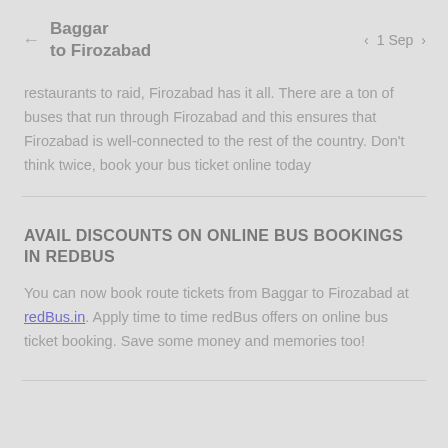Baggar to Firozabad | 1 Sep
restaurants to raid, Firozabad has it all. There are a ton of buses that run through Firozabad and this ensures that Firozabad is well-connected to the rest of the country. Don't think twice, book your bus ticket online today
AVAIL DISCOUNTS ON ONLINE BUS BOOKINGS IN REDBUS
You can now book route tickets from Baggar to Firozabad at redBus.in. Apply time to time redBus offers on online bus ticket booking. Save some money and memories too!